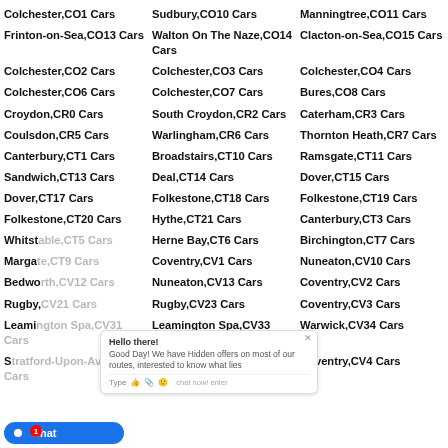Colchester,CO1 Cars
Sudbury,CO10 Cars
Manningtree,CO11 Cars
Frinton-on-Sea,CO13 Cars
Walton On The Naze,CO14 Cars
Clacton-on-Sea,CO15 Cars
Colchester,CO2 Cars
Colchester,CO3 Cars
Colchester,CO4 Cars
Colchester,CO6 Cars
Colchester,CO7 Cars
Bures,CO8 Cars
Croydon,CR0 Cars
South Croydon,CR2 Cars
Caterham,CR3 Cars
Coulsdon,CR5 Cars
Warlingham,CR6 Cars
Thornton Heath,CR7 Cars
Canterbury,CT1 Cars
Broadstairs,CT10 Cars
Ramsgate,CT11 Cars
Sandwich,CT13 Cars
Deal,CT14 Cars
Dover,CT15 Cars
Dover,CT17 Cars
Folkestone,CT18 Cars
Folkestone,CT19 Cars
Folkestone,CT20 Cars
Hythe,CT21 Cars
Canterbury,CT3 Cars
Whitstable,CT5 Cars
Herne Bay,CT6 Cars
Birchington,CT7 Cars
Margate,CT9 Cars
Coventry,CV1 Cars
Nuneaton,CV10 Cars
Bedworth,CV12 Cars
Nuneaton,CV13 Cars
Coventry,CV2 Cars
Rugby,CV21 Cars
Rugby,CV23 Cars
Coventry,CV3 Cars
Leamington Spa,CV31 Cars
Leamington Spa,CV33 Cars
Warwick,CV34 Cars
Stratford-Upon-Avon,CV35 Cars
Stratford-Upon-Avon,CV37 Cars
Coventry,CV4 Cars